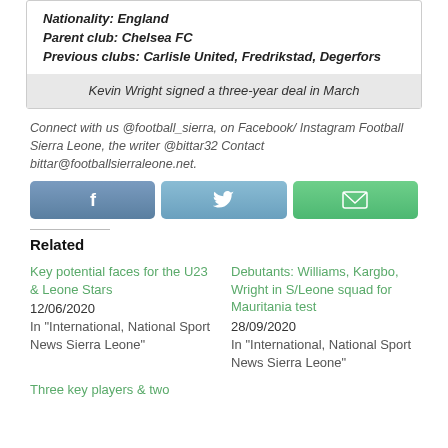| Nationality: England |
| Parent club: Chelsea FC |
| Previous clubs: Carlisle United, Fredrikstad, Degerfors |
Kevin Wright signed a three-year deal in March
Connect with us @football_sierra, on Facebook/ Instagram Football Sierra Leone, the writer @bittar32 Contact bittar@footballsierraleone.net.
[Figure (infographic): Three social media sharing buttons: Facebook (blue-grey), Twitter (light blue), Email (green)]
Related
Key potential faces for the U23 & Leone Stars
12/06/2020
In "International, National Sport News Sierra Leone"
Debutants: Williams, Kargbo, Wright in S/Leone squad for Mauritania test
28/09/2020
In "International, National Sport News Sierra Leone"
Three key players & two